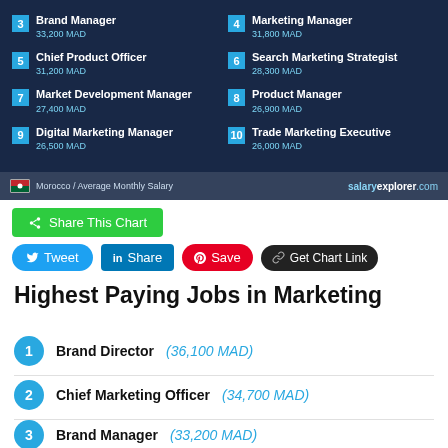[Figure (infographic): Top 10 highest paying jobs in Marketing in Morocco with salary figures in MAD on a dark blue background with business photo]
3 Brand Manager 33,200 MAD
4 Marketing Manager 31,800 MAD
5 Chief Product Officer 31,200 MAD
6 Search Marketing Strategist 28,300 MAD
7 Market Development Manager 27,400 MAD
8 Product Manager 26,900 MAD
9 Digital Marketing Manager 26,500 MAD
10 Trade Marketing Executive 26,000 MAD
Share This Chart
Tweet | Share | Save | Get Chart Link
Highest Paying Jobs in Marketing
1 Brand Director (36,100 MAD)
2 Chief Marketing Officer (34,700 MAD)
3 Brand Manager (33,200 MAD)